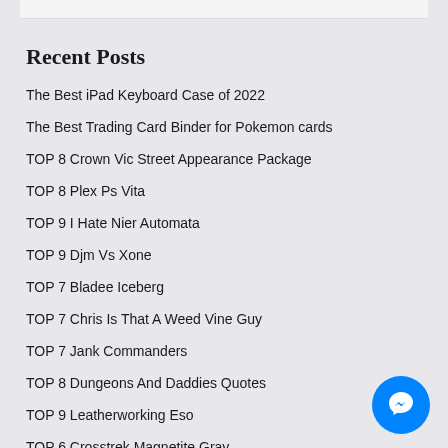Recent Posts
The Best iPad Keyboard Case of 2022
The Best Trading Card Binder for Pokemon cards
TOP 8 Crown Vic Street Appearance Package
TOP 8 Plex Ps Vita
TOP 9 I Hate Nier Automata
TOP 9 Djm Vs Xone
TOP 7 Bladee Iceberg
TOP 7 Chris Is That A Weed Vine Guy
TOP 7 Jank Commanders
TOP 8 Dungeons And Daddies Quotes
TOP 9 Leatherworking Eso
TOP 6 Crosstrek Magnetite Gray